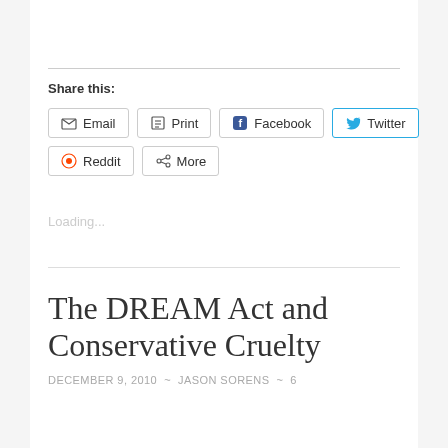Share this:
Email  Print  Facebook  Twitter  Reddit  More
Loading...
The DREAM Act and Conservative Cruelty
DECEMBER 9, 2010 ~ JASON SORENS ~ 6